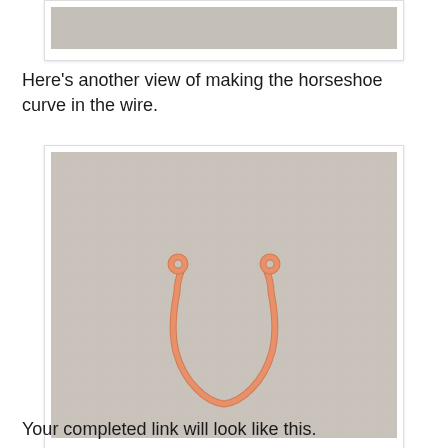[Figure (photo): Partial view of a fabric/linen background (top of previous image, cropped)]
Here's another view of making the horseshoe curve in the wire.
[Figure (photo): A copper wire bent into a horseshoe U-shape with small loops at each end, resting on a linen/burlap fabric background.]
Your completed link will look like this.